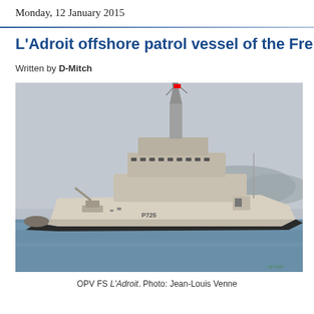Monday, 12 January 2015
L'Adroit offshore patrol vessel of the French
Written by D-Mitch
[Figure (photo): Photograph of OPV FS L'Adroit, a French offshore patrol vessel (hull number P725) at sea, with mountains visible in background. Photo by Jean-Louis Venne.]
OPV FS L'Adroit. Photo: Jean-Louis Venne